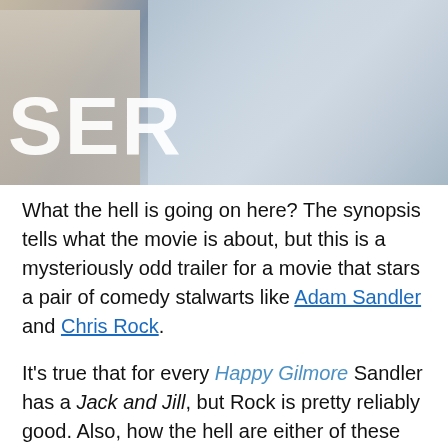[Figure (photo): Close-up photo of clothing/fabric (shirts), with large white bold text overlay reading 'SER' (partial word, likely part of a movie title)]
What the hell is going on here? The synopsis tells what the movie is about, but this is a mysteriously odd trailer for a movie that stars a pair of comedy stalwarts like Adam Sandler and Chris Rock.
It's true that for every Happy Gilmore Sandler has a Jack and Jill, but Rock is pretty reliably good. Also, how the hell are either of these guys old enough to have kids who could get married?